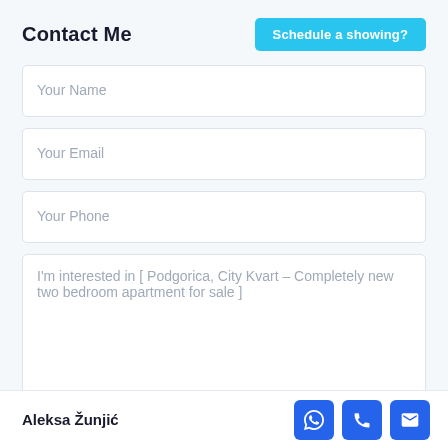Contact Me
Schedule a showing?
Your Name
Your Email
Your Phone
I'm interested in [ Podgorica, City Kvart – Completely new two bedroom apartment for sale ]
Aleksa Žunjić